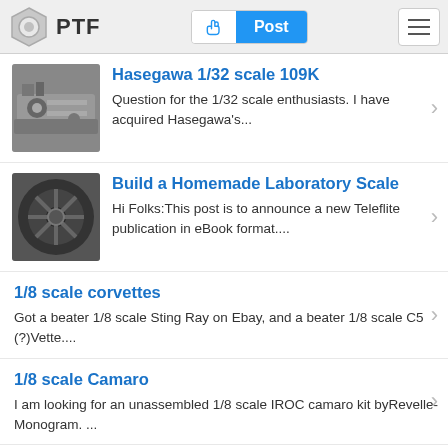PTF — Post
Hasegawa 1/32 scale 109K — Question for the 1/32 scale enthusiasts. I have acquired Hasegawa's...
Build a Homemade Laboratory Scale — Hi Folks:This post is to announce a new Teleflite publication in eBook format....
1/8 scale corvettes — Got a beater 1/8 scale Sting Ray on Ebay, and a beater 1/8 scale C5 (?)Vette....
1/8 scale Camaro — I am looking for an unassembled 1/8 scale IROC camaro kit byRevelle-Monogram. ...
Re: Just started a blog — You know, I started to read this, and really. I just coudnt make it trough. This...